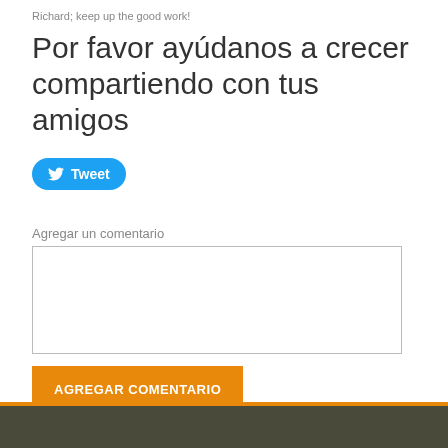Richard; keep up the good work!
Por favor ayúdanos a crecer compartiendo con tus amigos
[Figure (other): Twitter Tweet button with bird icon]
Agregar un comentario
AGREGAR COMENTARIO